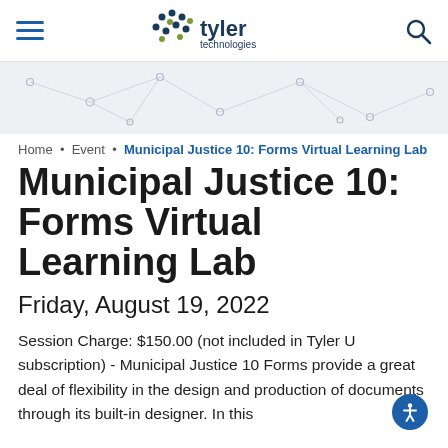tyler technologies
[Figure (other): Network/technology background graphic with connected dots and lines on light gray background]
Home • Event • Municipal Justice 10: Forms Virtual Learning Lab
Municipal Justice 10: Forms Virtual Learning Lab
Friday, August 19, 2022
Session Charge: $150.00 (not included in Tyler U subscription) - Municipal Justice 10 Forms provide a great deal of flexibility in the design and production of documents through its built-in designer. In this